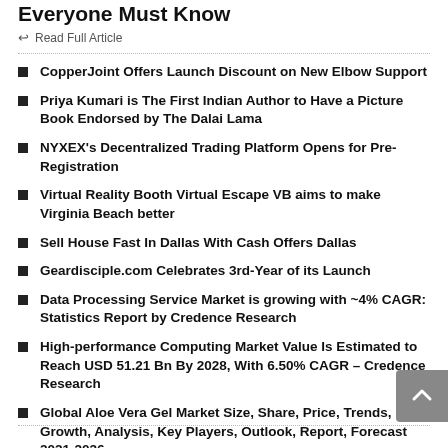Surprising Facts about Almuede Yoga That Everyone Must Know
↩ Read Full Article
CopperJoint Offers Launch Discount on New Elbow Support
Priya Kumari is The First Indian Author to Have a Picture Book Endorsed by The Dalai Lama
NYXEX's Decentralized Trading Platform Opens for Pre-Registration
Virtual Reality Booth Virtual Escape VB aims to make Virginia Beach better
Sell House Fast In Dallas With Cash Offers Dallas
Geardisciple.com Celebrates 3rd-Year of its Launch
Data Processing Service Market is growing with ~4% CAGR: Statistics Report by Credence Research
High-performance Computing Market Value Is Estimated to Reach USD 51.21 Bn By 2028, With 6.50% CAGR – Credence Research
Global Aloe Vera Gel Market Size, Share, Price, Trends, Growth, Analysis, Key Players, Outlook, Report, Forecast 2021-2026